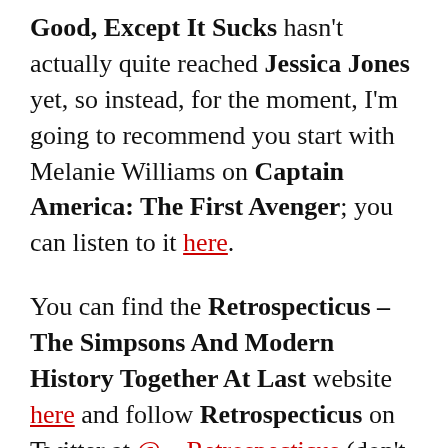Good, Except It Sucks hasn't actually quite reached Jessica Jones yet, so instead, for the moment, I'm going to recommend you start with Melanie Williams on Captain America: The First Avenger; you can listen to it here.
You can find the Retrospecticus – The Simpsons And Modern History Together At Last website here and follow Retrospecticus on Twitter at @__Retrospecticus (don't forget the underscore because they can't!). I'd